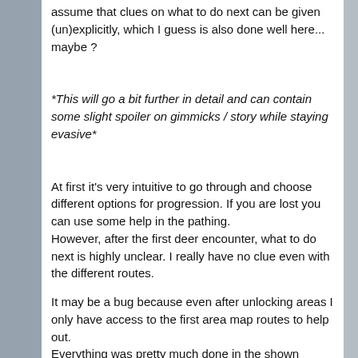assume that clues on what to do next can be given (un)explicitly, which I guess is also done well here... maybe ?
*This will go a bit further in detail and can contain some slight spoiler on gimmicks / story while staying evasive*
At first it's very intuitive to go through and choose different options for progression. If you are lost you can use some help in the pathing. However, after the first deer encounter, what to do next is highly unclear. I really have no clue even with the different routes.
It may be a bug because even after unlocking areas I only have access to the first area map routes to help out. Everything was pretty much done in the shown